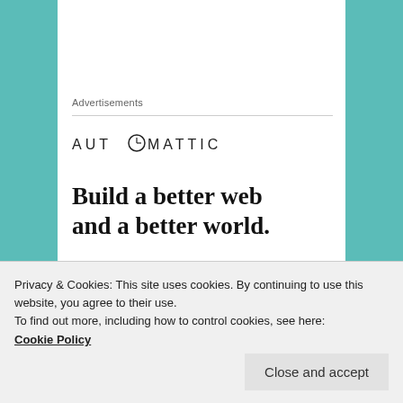Advertisements
[Figure (logo): AUTOMATTIC logo with compass/clock icon replacing the letter O]
Build a better web and a better world.
That's all I have to share today! I'm looking f…
Privacy & Cookies: This site uses cookies. By continuing to use this website, you agree to their use.
To find out more, including how to control cookies, see here:
Cookie Policy
Close and accept